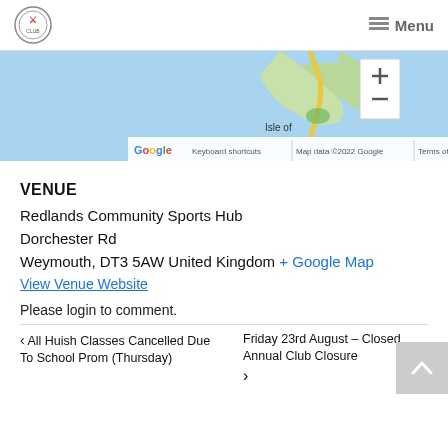Menu
[Figure (map): Google Maps screenshot showing Isle of area, with map controls, Keyboard shortcuts, Map data ©2022 Google, Terms of Use]
VENUE
Redlands Community Sports Hub
Dorchester Rd
Weymouth, DT3 5AW United Kingdom + Google Map
View Venue Website
Please login to comment.
< All Huish Classes Cancelled Due To School Prom (Thursday)
Friday 23rd August – Closed Annual Club Closure >